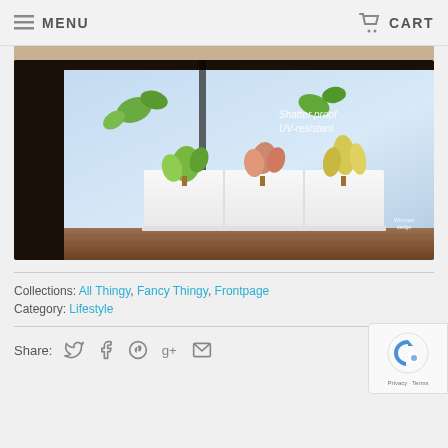MENU   CART
[Figure (photo): Product photo of a white modular planter box with succulents on a wooden surface, in front of a window. Text overlay reads 'Shatter proof UV-resistant'. Winmart design watermark.]
Collections: All Thingy, Fancy Thingy, Frontpage
Category: Lifestyle
Share:
[Figure (other): reCAPTCHA badge - Privacy - Terms]